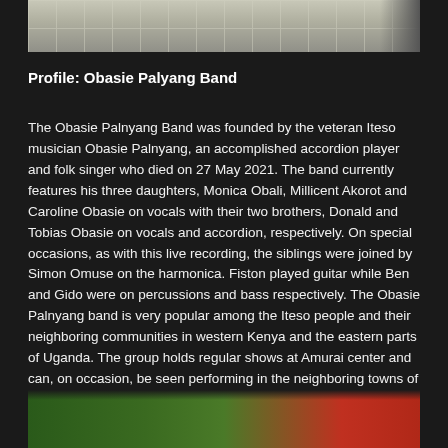[Figure (photo): Partial view of a room with tiled floor, top portion cropped]
Profile: Obasie Palyang Band
The Obasie Palnyang Band was founded by the veteran Iteso musician Obasie Palnyang, an accomplished accordion player and folk singer who died on 27 May 2021. The band currently features his three daughters, Monica Obali, Millicent Akorot and Caroline Obasie on vocals with their two brothers, Donald and Tobias Obasie on vocals and accordion, respectively. On special occasions, as with this live recording, the siblings were joined by Simon Omuse on the harmonica. Fiston played guitar while Ben and Gido were on percussions and bass respectively. The Obasie Palnyang band is very popular among the Iteso people and their neighboring communities in western Kenya and the eastern parts of Uganda. The group holds regular shows at Amurai center and can, on occasion, be seen performing in the neighboring towns of Busia and Malaba.
[Figure (photo): Partial view of outdoor scene with trees and a red structure, bottom portion cropped]